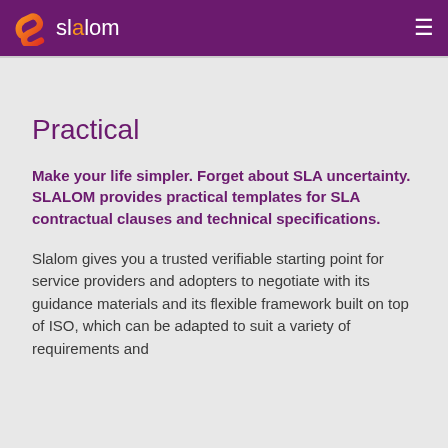slalom
Practical
Make your life simpler. Forget about SLA uncertainty. SLALOM provides practical templates for SLA contractual clauses and technical specifications.
Slalom gives you a trusted verifiable starting point for service providers and adopters to negotiate with its guidance materials and its flexible framework built on top of ISO, which can be adapted to suit a variety of requirements and